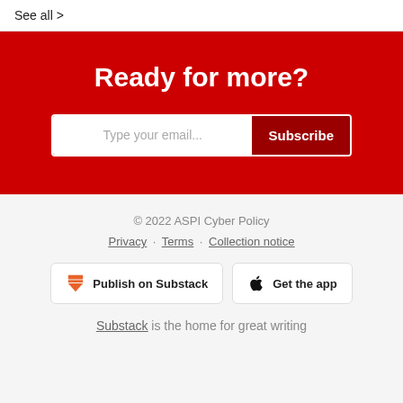See all >
Ready for more?
Type your email... Subscribe
© 2022 ASPI Cyber Policy
Privacy · Terms · Collection notice
Publish on Substack
Get the app
Substack is the home for great writing